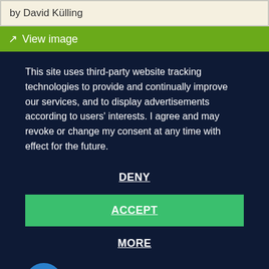by David Külling
↗ View image
This site uses third-party website tracking technologies to provide and continually improve our services, and to display advertisements according to users' interests. I agree and may revoke or change my consent at any time with effect for the future.
DENY
ACCEPT
MORE
Powered by usercentrics